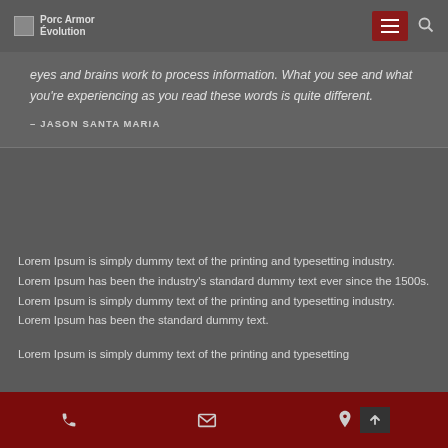Porc Armor Évolution
eyes and brains work to process information. What you see and what you're experiencing as you read these words is quite different.
– JASON SANTA MARIA
Lorem Ipsum is simply dummy text of the printing and typesetting industry. Lorem Ipsum has been the industry's standard dummy text ever since the 1500s. Lorem Ipsum is simply dummy text of the printing and typesetting industry. Lorem Ipsum has been the standard dummy text.
Lorem Ipsum is simply dummy text of the printing and typesetting
Phone | Email | Location